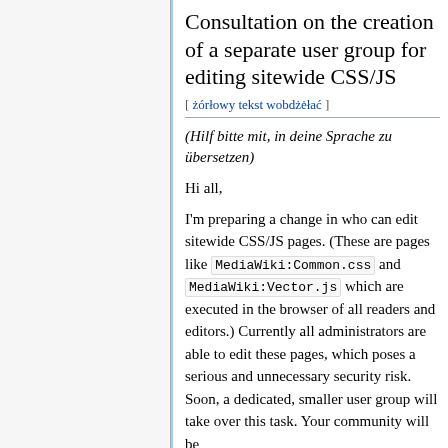Consultation on the creation of a separate user group for editing sitewide CSS/JS
[ żórłowy tekst wobdżėłać ]
(Hilf bitte mit, in deine Sprache zu übersetzen)
Hi all,
I'm preparing a change in who can edit sitewide CSS/JS pages. (These are pages like MediaWiki:Common.css and MediaWiki:Vector.js which are executed in the browser of all readers and editors.) Currently all administrators are able to edit these pages, which poses a serious and unnecessary security risk. Soon, a dedicated, smaller user group will take over this task. Your community will be